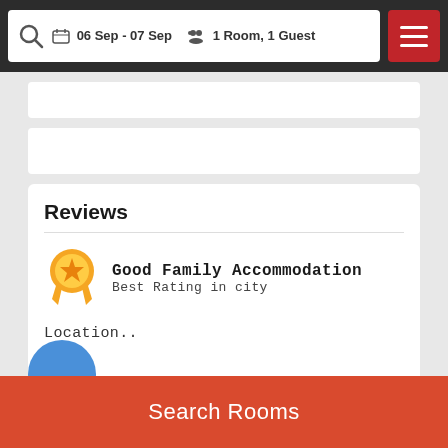06 Sep - 07 Sep  1 Room, 1 Guest
Reviews
Good Family Accommodation
Best Rating in city
Location..
SHOW ALL REVIEWS
Location
Search Rooms